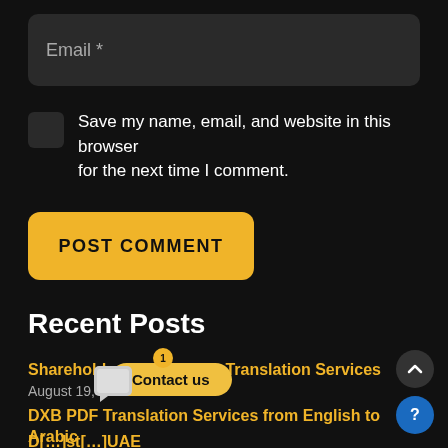[Figure (screenshot): Email input field with placeholder text 'Email *' on dark background]
Save my name, email, and website in this browser for the next time I comment.
[Figure (screenshot): POST COMMENT button in yellow/gold color]
Recent Posts
Shareholder Publications Translation Services
August 19, 2022
DXB PDF Translation Services from English to Arabic in Dubai
Aug [partially visible], 2022
D[partially obscured]st[partially obscured]UAE
August 18, 2022
[Figure (screenshot): Contact us chat overlay button with notification badge showing 1]